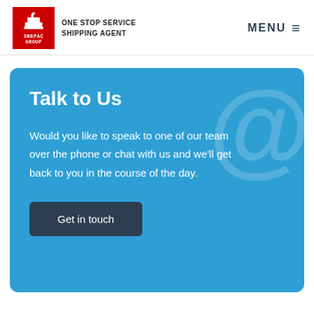SNEPAC GROUP — ONE STOP SERVICE SHIPPING AGENT | MENU
Talk to Us
Would you like to speak to one of our team over the phone or chat with us and we'll get back to you in the course of the day.
Get in touch